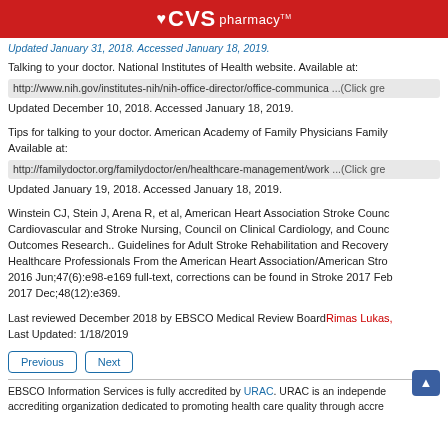CVS pharmacy
Updated January 31, 2018. Accessed January 18, 2019.
Talking to your doctor. National Institutes of Health website. Available at: http://www.nih.gov/institutes-nih/nih-office-director/office-communica ...(Click grey bar to view URL) Updated December 10, 2018. Accessed January 18, 2019.
Tips for talking to your doctor. American Academy of Family Physicians Family Doctor website. Available at: http://familydoctor.org/familydoctor/en/healthcare-management/work ...(Click grey bar to view URL) Updated January 19, 2018. Accessed January 18, 2019.
Winstein CJ, Stein J, Arena R, et al, American Heart Association Stroke Council, Council on Cardiovascular and Stroke Nursing, Council on Clinical Cardiology, and Council on Quality of Care and Outcomes Research.. Guidelines for Adult Stroke Rehabilitation and Recovery: A Guideline for Healthcare Professionals From the American Heart Association/American Stroke Association. Stroke 2016 Jun;47(6):e98-e169 full-text, corrections can be found in Stroke 2017 Feb;48(2):e78 and Stroke 2017 Dec;48(12):e369.
Last reviewed December 2018 by EBSCO Medical Review Board Rimas Lukas, MD. Last Updated: 1/18/2019
Previous | Next
EBSCO Information Services is fully accredited by URAC. URAC is an independent, nonprofit accrediting organization dedicated to promoting health care quality through accre